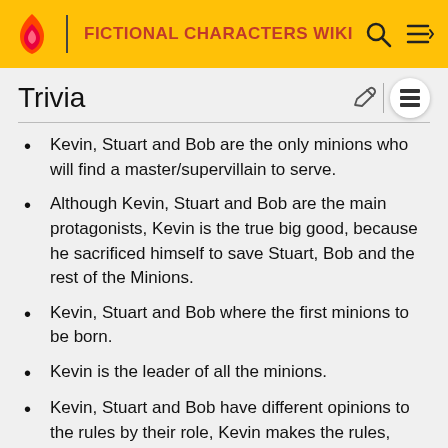FICTIONAL CHARACTERS WIKI
Trivia
Kevin, Stuart and Bob are the only minions who will find a master/supervillain to serve.
Although Kevin, Stuart and Bob are the main protagonists, Kevin is the true big good, because he sacrificed himself to save Stuart, Bob and the rest of the Minions.
Kevin, Stuart and Bob where the first minions to be born.
Kevin is the leader of all the minions.
Kevin, Stuart and Bob have different opinions to the rules by their role, Kevin makes the rules, Stuart breaks the rules, Bob does not apply to the rules.